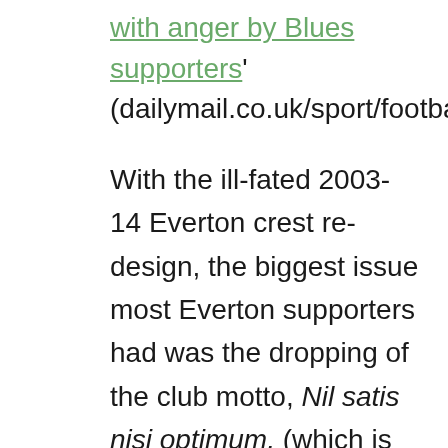with anger by Blues supporters' (dailymail.co.uk/sport/football).
With the ill-fated 2003-14 Everton crest re-design, the biggest issue most Everton supporters had was the dropping of the club motto, Nil satis nisi optimum, (which is Latin for 'nothing but the best is good enough'). The club explained that they needed to re-design the crest because their